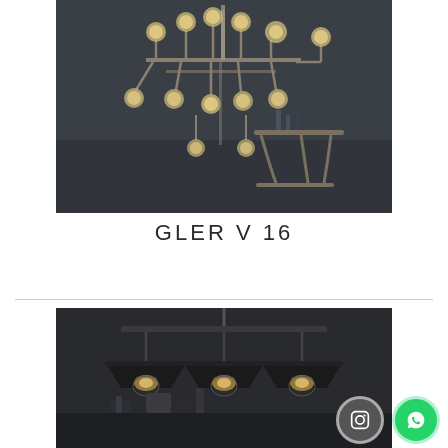[Figure (photo): Modern chandelier with multiple globe bulbs on metal arms, photographed in a dark interior room with a decorative side table in the background.]
GLER V 16
[Figure (photo): Industrial-style three-shade pendant light bar with Edison bulbs and black flat cone shades, hung above a dark surface with decorative objects.]